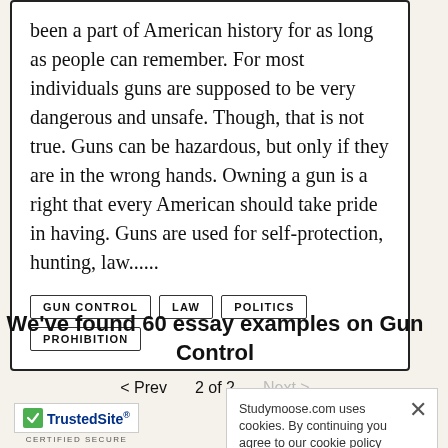been a part of American history for as long as people can remember. For most individuals guns are supposed to be very dangerous and unsafe. Though, that is not true. Guns can be hazardous, but only if they are in the wrong hands. Owning a gun is a right that every American should take pride in having. Guns are used for self-protection, hunting, law......
GUN CONTROL
LAW
POLITICS
PROHIBITION
We've found 60 essay examples on Gun Control
< Prev   2 of 2   Next >
Studymoose.com uses cookies. By continuing you agree to our cookie policy
[Figure (logo): TrustedSite CERTIFIED SECURE badge with green checkmark]